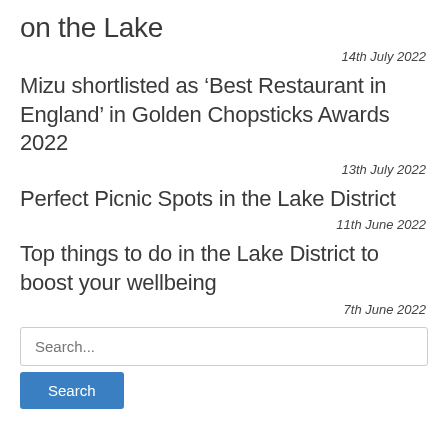on the Lake
14th July 2022
Mizu shortlisted as ‘Best Restaurant in England’ in Golden Chopsticks Awards 2022
13th July 2022
Perfect Picnic Spots in the Lake District
11th June 2022
Top things to do in the Lake District to boost your wellbeing
7th June 2022